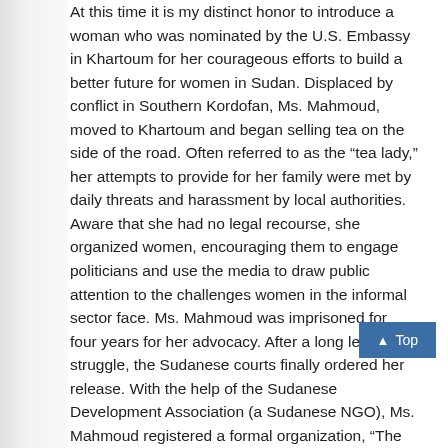At this time it is my distinct honor to introduce a woman who was nominated by the U.S. Embassy in Khartoum for her courageous efforts to build a better future for women in Sudan. Displaced by conflict in Southern Kordofan, Ms. Mahmoud, moved to Khartoum and began selling tea on the side of the road. Often referred to as the “tea lady,” her attempts to provide for her family were met by daily threats and harassment by local authorities. Aware that she had no legal recourse, she organized women, encouraging them to engage politicians and use the media to draw public attention to the challenges women in the informal sector face. Ms. Mahmoud was imprisoned for four years for her advocacy. After a long legal struggle, the Sudanese courts finally ordered her release. With the help of the Sudanese Development Association (a Sudanese NGO), Ms. Mahmoud registered a formal organization, “The Women’s Food and Tea Sellers’ Cooperative of Khartoum State.”
Currently, over 7,500 women are engaged as members of the three cooperatives originally organized by Ms. Mahmoud. During 2015, the three cooperatives saw further expansion to